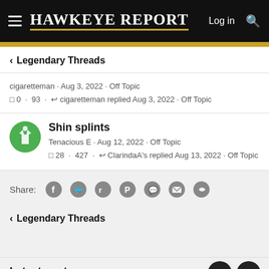Hawkeye Report — Log in
< Legendary Threads
cigaretteman · Aug 3, 2022 · Off Topic
□ 0 · 93 · ↩ cigaretteman replied Aug 3, 2022 · Off Topic
Shin splints
Tenacious E · Aug 12, 2022 · Off Topic
□ 28 · 427 · ↩ ClarindaA's replied Aug 13, 2022 · Off Topic
Share:
< Legendary Threads
Latest posts